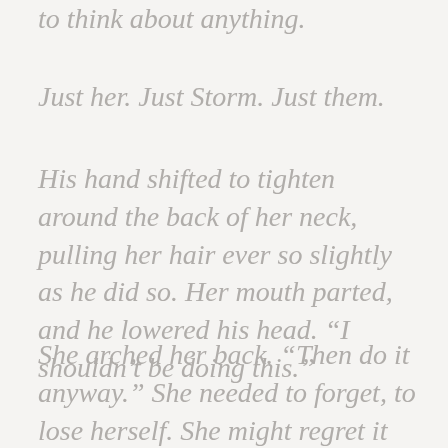to think about anything.
Just her. Just Storm. Just them.
His hand shifted to tighten around the back of her neck, pulling her hair ever so slightly as he did so. Her mouth parted, and he lowered his head. “I shouldn’t be doing this.”
She arched her back. “Then do it anyway.” She needed to forget, to lose herself. She might regret it later, but